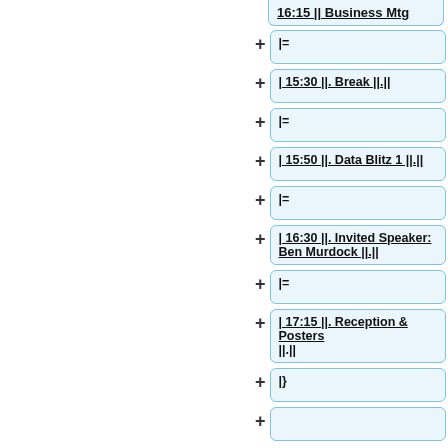16:15 || Business Mtg
|=
| 15:30 ||. Break ||.||
|=
| 15:50 ||. Data Blitz 1 ||.||
|=
| 16:30 ||. Invited Speaker: Ben Murdock ||.||
|=
| 17:15 ||. Reception & Posters ||.||
|}